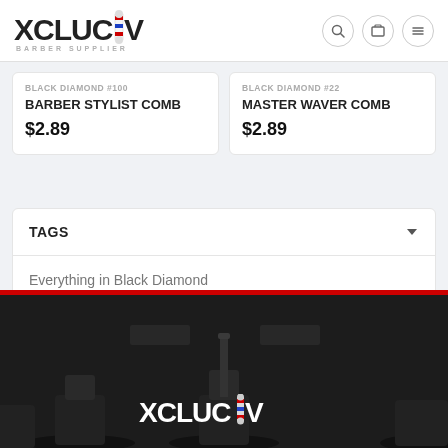[Figure (logo): XCLUCIV Barber Supplier logo with barber pole icon]
BLACK DIAMOND #100
BARBER STYLIST COMB
$2.89
BLACK DIAMOND #22
MASTER WAVER COMB
$2.89
TAGS
Everything in Black Diamond
[Figure (photo): Dark barber shop interior with barber chairs, red stripe at top, XCLUCIV logo in white at bottom]